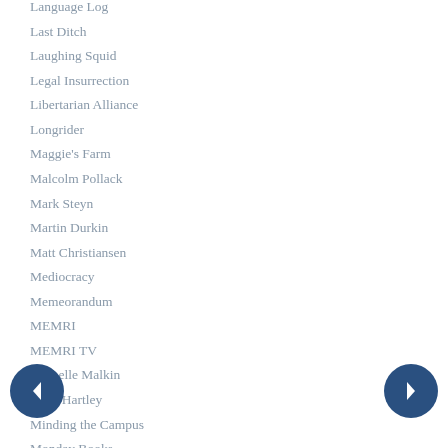Language Log
Last Ditch
Laughing Squid
Legal Insurrection
Libertarian Alliance
Longrider
Maggie's Farm
Malcolm Pollack
Mark Steyn
Martin Durkin
Matt Christiansen
Mediocracy
Memeorandum
MEMRI
MEMRI TV
Michelle Malkin
Mick Hartley
Minding the Campus
Monday Books
NAS
National Review
Neatorama
Neo
New Criterion